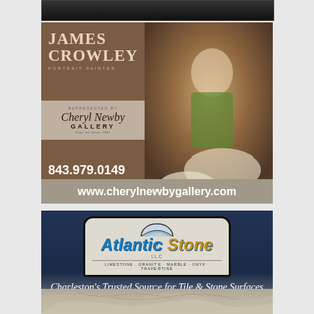[Figure (photo): Top partial advertisement with black background, dark image partially visible at top of page]
[Figure (photo): James Crowley Portrait Painter advertisement. Left side brown background with name and Cheryl Newby Gallery info and phone numbers. Right side shows portrait painting of elderly woman in green jacket with two white dogs. Website www.cherylnewbygallery.com at bottom.]
[Figure (photo): Atlantic Stone LLC advertisement. Blue/dark background with Atlantic Stone logo (limestone, granite, marble, onyx, travertine). Tagline: Charleston's Trusted Source for Tile & Stone Surfaces. Stone display visible at bottom.]